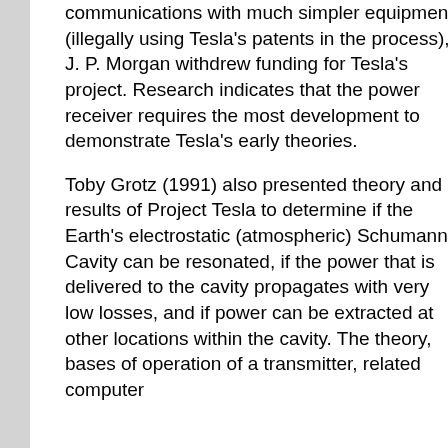communications with much simpler equipment (illegally using Tesla's patents in the process), J. P. Morgan withdrew funding for Tesla's project. Research indicates that the power receiver requires the most development to demonstrate Tesla's early theories.
Toby Grotz (1991) also presented theory and results of Project Tesla to determine if the Earth's electrostatic (atmospheric) Schumann Cavity can be resonated, if the power that is delivered to the cavity propagates with very low losses, and if power can be extracted at other locations within the cavity. The theory, bases of operation of a transmitter, related computer